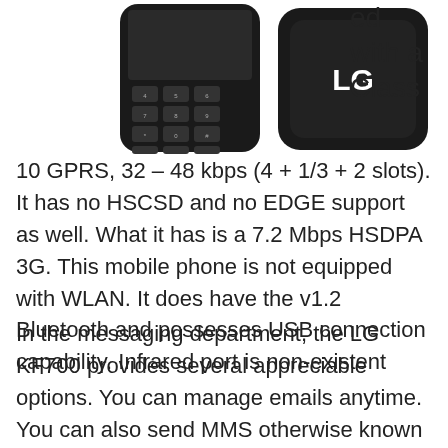[Figure (photo): Two LG mobile phones shown side by side — one showing the keypad and one showing the back with LG logo]
ed with a Class 10 GPRS, 32 – 48 kbps (4 + 1/3 + 2 slots). It has no HSCSD and no EDGE support as well. What it has is a 7.2 Mbps HSDPA 3G. This mobile phone is not equipped with WLAN. It does have the v1.2 Bluetooth and possesses USB connection capability. Infrared port is non-existent
In the messaging department, the LG KF700 provides several appreciable options. You can manage emails anytime. You can also send MMS otherwise known as picture messages. EMS can also be done. Naturally, the SMS messaging option is available. For its browser, the KF700 is equipped with the WAP...